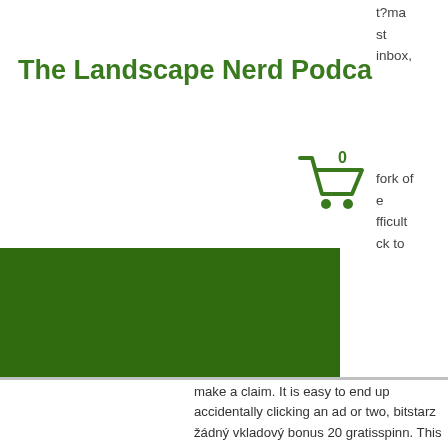The Landscape Nerd Podcast
t?ma st inbox,
[Figure (other): Shopping cart icon with 0 badge]
fork of e fficult ck to
[Figure (other): Dark green horizontal banner bar]
make a claim. It is easy to end up accidentally clicking an ad or two, bitstarz žádný vkladový bonus 20 gratisspinn. This interest is rarely noted but can add up quickly as it can be between 10% and 25% depending on what you are trading, bitstarz žádný vkladový bonus codes for existing users 2021. To provide advice on what to sell advisors need to be regulated by the FCA and have the relevant qualifications. But if you choose to press the 'Go to website' button, then you will get a sub pop up asking you to confirm that you really want to go to that site and it also looks like this below,